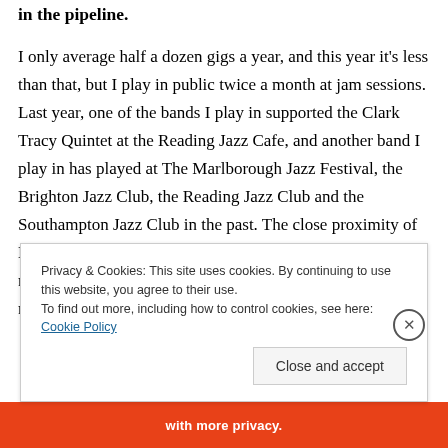in the pipeline.
I only average half a dozen gigs a year, and this year it's less than that, but I play in public twice a month at jam sessions. Last year, one of the bands I play in supported the Clark Tracy Quintet at the Reading Jazz Cafe, and another band I play in has played at The Marlborough Jazz Festival, the Brighton Jazz Club, the Reading Jazz Club and the Southampton Jazz Club in the past. The close proximity of London, and the dearth of gigs there for pro musicians means that, now, these local gigs can attract London jazz musicians for modest fees, so there
Privacy & Cookies: This site uses cookies. By continuing to use this website, you agree to their use.
To find out more, including how to control cookies, see here: Cookie Policy